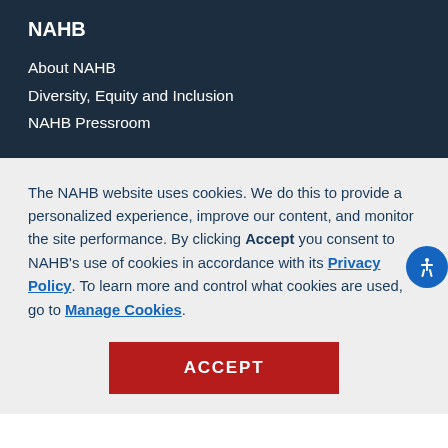NAHB
About NAHB
Diversity, Equity and Inclusion
NAHB Pressroom
The NAHB website uses cookies. We do this to provide a personalized experience, improve our content, and monitor the site performance. By clicking Accept you consent to NAHB’s use of cookies in accordance with its Privacy Policy. To learn more and control what cookies are used, go to Manage Cookies.
ACCEPT